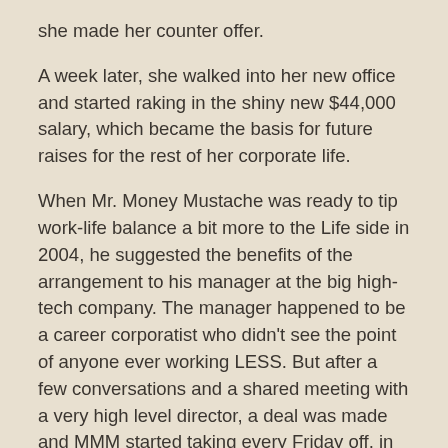she made her counter offer.
A week later, she walked into her new office and started raking in the shiny new $44,000 salary, which became the basis for future raises for the rest of her corporate life.
When Mr. Money Mustache was ready to tip work-life balance a bit more to the Life side in 2004, he suggested the benefits of the arrangement to his manager at the big high-tech company. The manager happened to be a career corporatist who didn't see the point of anyone ever working LESS. But after a few conversations and a shared meeting with a very high level director, a deal was made and MMM started taking every Friday off, in an exchange for a 20% pay cut.
You, the MMM readers, are some of the world's most innovative and competent professionals. Your company